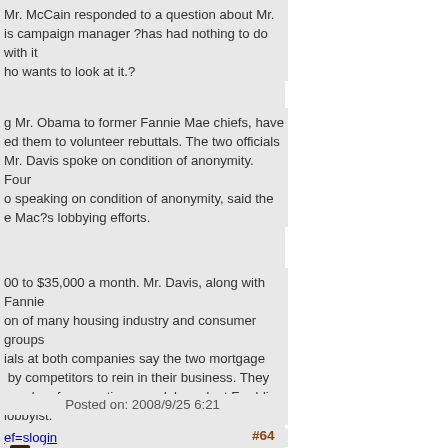Mr. McCain responded to a question about Mr. is campaign manager ?has had nothing to do with it ho wants to look at it.?
g Mr. Obama to former Fannie Mae chiefs, have ed them to volunteer rebuttals. The two officials Mr. Davis spoke on condition of anonymity. Four o speaking on condition of anonymity, said the e Mac?s lobbying efforts.
00 to $35,000 a month. Mr. Davis, along with Fannie on of many housing industry and consumer groups ials at both companies say the two mortgage  by competitors to rein in their business. They e wake of accounting scandals and, at Freddie lobbyist.
ef=slogin
[Figure (illustration): Small pixel avatar icon of a face with sunglasses]
Posted on: 2008/9/25 6:21
#64